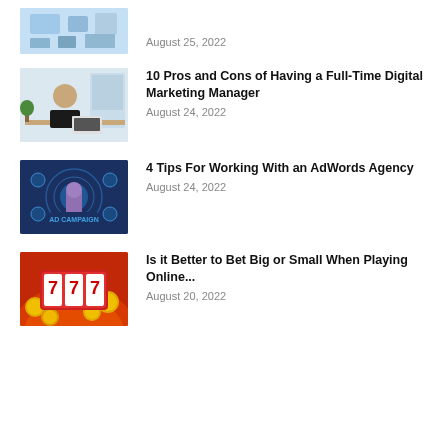August 25, 2022
[Figure (photo): Thumbnail image for an article about digital marketing or business-related topic]
10 Pros and Cons of Having a Full-Time Digital Marketing Manager
August 24, 2022
[Figure (photo): Thumbnail image showing a glowing hand touching a screen with AD CAMPAIGN text, representing AdWords/digital advertising]
4 Tips For Working With an AdWords Agency
August 24, 2022
[Figure (photo): Thumbnail image showing a slot machine with 777 and gold coins on a red background, representing online gambling/betting]
Is it Better to Bet Big or Small When Playing Online...
August 20, 2022